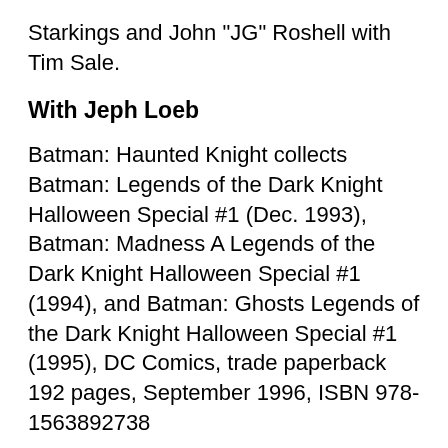Starkings and John "JG" Roshell with Tim Sale.
With Jeph Loeb
Batman: Haunted Knight collects Batman: Legends of the Dark Knight Halloween Special #1 (Dec. 1993), Batman: Madness A Legends of the Dark Knight Halloween Special #1 (1994), and Batman: Ghosts Legends of the Dark Knight Halloween Special #1 (1995), DC Comics, trade paperback 192 pages, September 1996, ISBN 978-1563892738
Wolverine & Gambit: Victims collects Wolverine/Gambit: Victims #1–4 (Sept.–Dec. 1995), Marvel Comics, hardcover 112 pages, November 2009, ISBN 978-0785138020; trade paperback March 2013, ISBN 978-